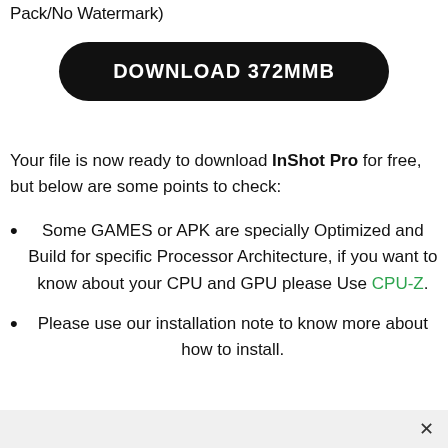Pack/No Watermark)
[Figure (other): Black rounded rectangle button with white text: DOWNLOAD 372MMB]
Your file is now ready to download InShot Pro for free, but below are some points to check:
Some GAMES or APK are specially Optimized and Build for specific Processor Architecture, if you want to know about your CPU and GPU please Use CPU-Z.
Please use our installation note to know more about how to install.